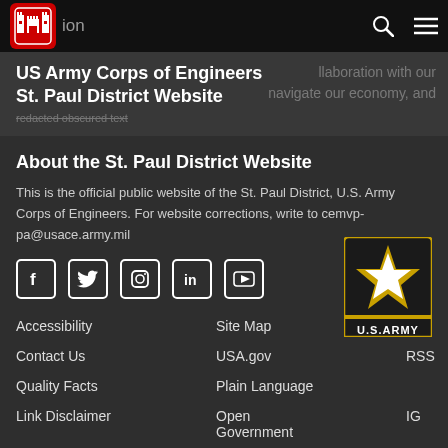US Army Corps of Engineers - St. Paul District Website
US Army Corps of Engineers
St. Paul District Website
About the St. Paul District Website
This is the official public website of the St. Paul District, U.S. Army Corps of Engineers. For website corrections, write to cemvp-pa@usace.army.mil
[Figure (infographic): Social media icons: Facebook, Twitter, Instagram, LinkedIn, YouTube]
[Figure (logo): U.S. Army star logo with gold star on black background and U.S.ARMY text]
Accessibility
Contact Us
Quality Facts
Link Disclaimer
Site Map
USA.gov
Plain Language
Open Government
RSS
IG